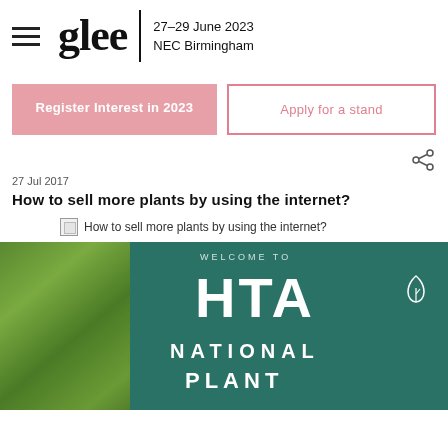glee | 27-29 June 2023 NEC Birmingham
Register Interest in 2023
Apply for a stand
27 Jul 2017
How to sell more plants by using the internet?
How to sell more plants by using the internet?
[Figure (photo): HTA National Plant Show sign with green plants in background, white text reading WELCOME TO HTA NATIONAL PLANT]